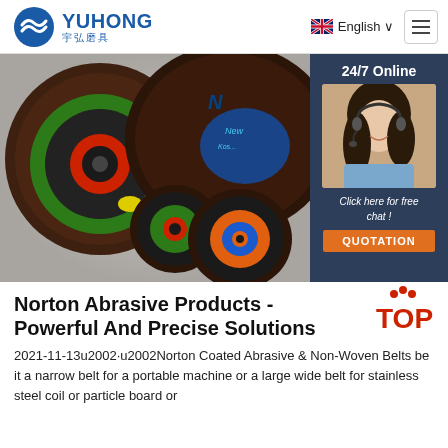[Figure (logo): YUHONG logo with Chinese characters 宇弘磨具 and blue wave/circle icon]
[Figure (screenshot): Navigation bar with UK flag English language selector and hamburger menu]
[Figure (photo): Multiple abrasive grinding/cutting discs in various sizes with green, black, orange and blue labels. On the right is a 24/7 Online chat popup with a female customer service agent wearing a headset, with a dark blue background reading '24/7 Online', italic text 'Click here for free chat!', and an orange QUOTATION button.]
Norton Abrasive Products - Powerful And Precise Solutions
2021-11-13u2002·u2002Norton Coated Abrasive & Non-Woven Belts be it a narrow belt for a portable machine or a large wide belt for stainless steel coil or particle board or